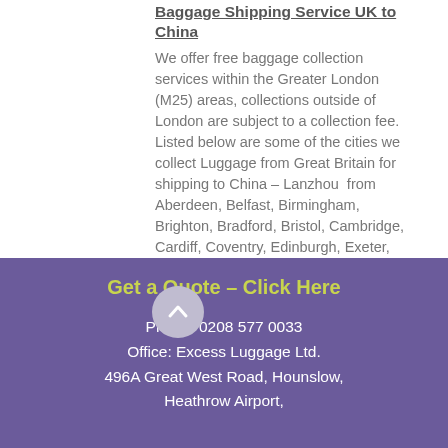Baggage Shipping Service UK to China
We offer free baggage collection services within the Greater London (M25) areas, collections outside of London are subject to a collection fee. Listed below are some of the cities we collect Luggage from Great Britain for shipping to China – Lanzhou from Aberdeen, Belfast, Birmingham, Brighton, Bradford, Bristol, Cambridge, Cardiff, Coventry, Edinburgh, Exeter, Glasgow, Greater London, North London, East London, South London, West London, Kingston upon Hull, Leeds, Liverpool, Manchester, Newcastle, Norwich, Oxford, Portsmouth, Reading, Sheffield, Southampton and Swindon.
Get a Quote – Click Here
Phone: 0208 577 0033
Office: Excess Luggage Ltd.
496A Great West Road, Hounslow,
Heathrow Airport,